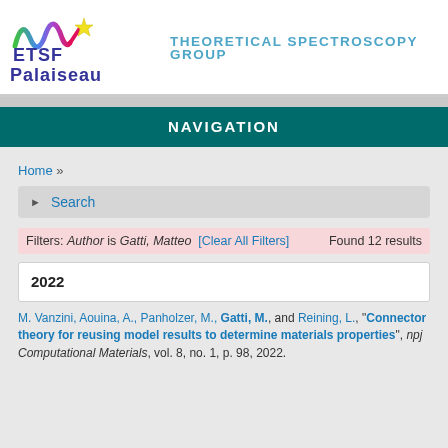[Figure (logo): ETSF Palaiseau logo with colorful waveform and star, alongside text 'THEORETICAL SPECTROSCOPY GROUP']
NAVIGATION
Home »
▶ Search
Filters: Author is Gatti, Matteo [Clear All Filters]    Found 12 results
2022
M. Vanzini, Aouina, A., Panholzer, M., Gatti, M., and Reining, L., "Connector theory for reusing model results to determine materials properties", npj Computational Materials, vol. 8, no. 1, p. 98, 2022.